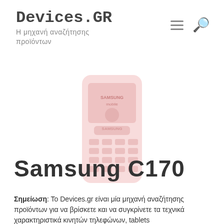Devices.GR
Η μηχανή αναζήτησης προϊόντων
[Figure (photo): Faded/ghost image of a Samsung C170 mobile phone, pink/red tint, showing the phone front with SAMSUNG mobile branding and keypad]
Samsung C170
Σημείωση: Το Devices.gr είναι μία μηχανή αναζήτησης προϊόντων για να βρίσκετε και να συγκρίνετε τα τεχνικά χαρακτηριστικά κινητών τηλεφώνων, tablets